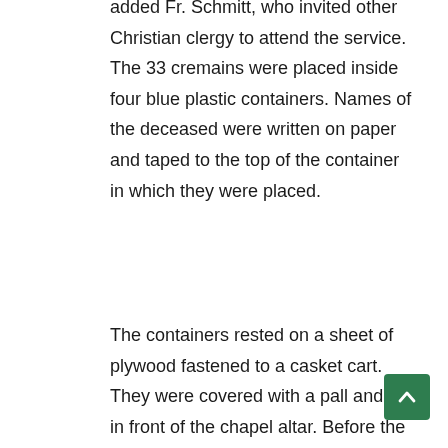added Fr. Schmitt, who invited other Christian clergy to attend the service. The 33 cremains were placed inside four blue plastic containers. Names of the deceased were written on paper and taped to the top of the container in which they were placed.
The containers rested on a sheet of plywood fastened to a casket cart. They were covered with a pall and sat in front of the chapel altar. Before the funeral service began, 33 candles, representing each deceased person, were placed on the altar.
After welcoming guests, Fr. Schmitt read the names of the deceased while cemetery sexton Rob